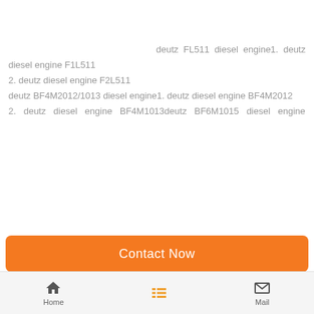deutz FL511 diesel engine1. deutz diesel engine F1L511 2. deutz diesel engine F2L511 deutz BF4M2012/1013 diesel engine1. deutz diesel engine BF4M2012 2. deutz diesel engine BF4M1013deutz BF6M1015 diesel engine
Contact Now
Home  Mail